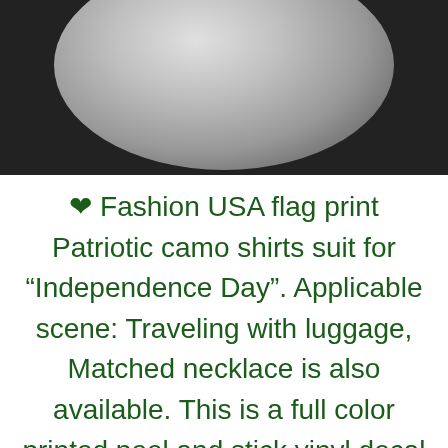[Figure (photo): Top portion of a black ceramic mug, showing the rim and interior in grayscale, on a dark background.]
❤ Fashion USA flag print Patriotic camo shirts suit for "Independence Day". Applicable scene: Traveling with luggage, Matched necklace is also available. This is a full color printed peel and stick vinyl decal sticker. White ceramic mug with black outer surface; image printed on both sides, 3D printing. There. Picture...